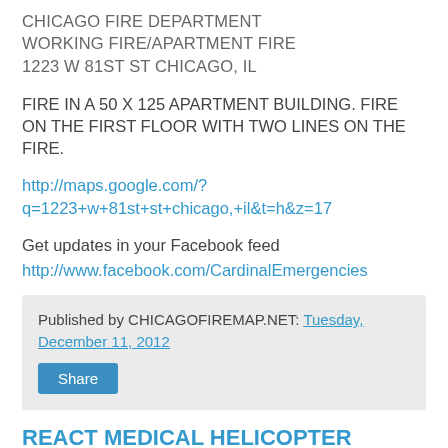CHICAGO FIRE DEPARTMENT
WORKING FIRE/APARTMENT FIRE
1223 W 81ST ST CHICAGO, IL
FIRE IN A 50 X 125 APARTMENT BUILDING. FIRE ON THE FIRST FLOOR WITH TWO LINES ON THE FIRE.
http://maps.google.com/?q=1223+w+81st+st+chicago,+il&t=h&z=17
Get updates in your Facebook feed
http://www.facebook.com/CardinalEmergencies
Published by CHICAGOFIREMAP.NET: Tuesday, December 11, 2012
Share
REACT MEDICAL HELICOPTER CRASH IN COMPTON, IL